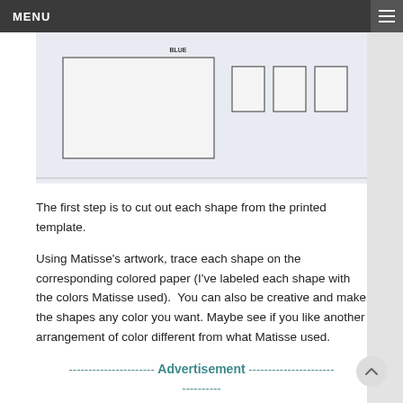MENU
[Figure (photo): A printed template showing cut-out shapes including rectangles arranged on white paper, with a small label reading 'BLUE']
The first step is to cut out each shape from the printed template.
Using Matisse’s artwork, trace each shape on the corresponding colored paper (I’ve labeled each shape with the colors Matisse used).  You can also be creative and make the shapes any color you want. Maybe see if you like another arrangement of color different from what Matisse used.
---------------------- Advertisement ----------------------------